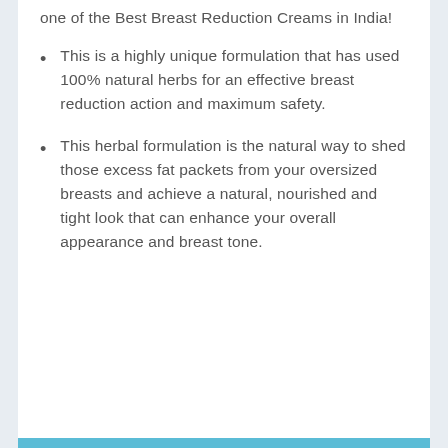one of the Best Breast Reduction Creams in India!
This is a highly unique formulation that has used 100% natural herbs for an effective breast reduction action and maximum safety.
This herbal formulation is the natural way to shed those excess fat packets from your oversized breasts and achieve a natural, nourished and tight look that can enhance your overall appearance and breast tone.